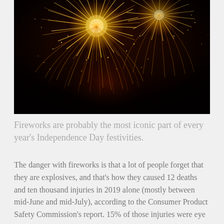[Figure (photo): Fireworks exploding against a dark night sky, showing bright golden and orange bursts with long trailing sparks radiating outward.]
Fireworks are probably the most iconic part of every year's Independence Day festivities.
The danger with fireworks is that a lot of people forget that they are explosives, and that's how they caused 12 deaths and ten thousand injuries in 2019 alone (mostly between mid-June and mid-July), according to the Consumer Product Safety Commission's report. 15% of those injuries were eye injuries.